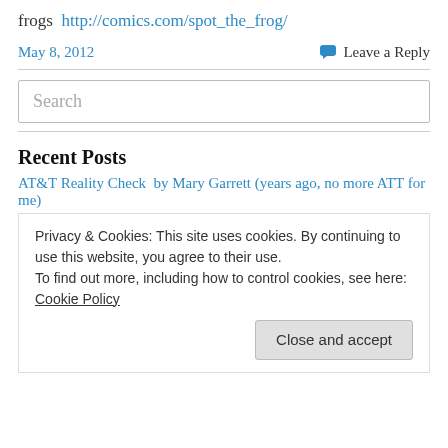frogs  http://comics.com/spot_the_frog/
May 8, 2012    Leave a Reply
Search
Recent Posts
AT&T Reality Check  by Mary Garrett (years ago, no more ATT for me)
Privacy & Cookies: This site uses cookies. By continuing to use this website, you agree to their use. To find out more, including how to control cookies, see here: Cookie Policy
Close and accept